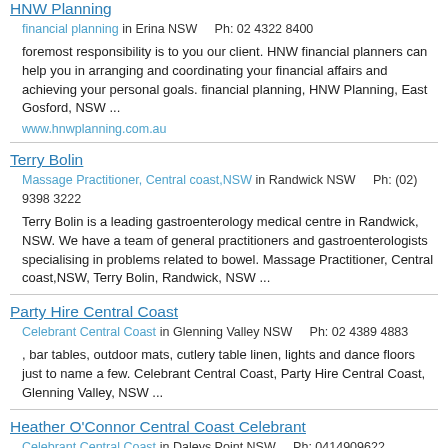HNW Planning
financial planning in Erina NSW    Ph: 02 4322 8400
foremost responsibility is to you our client. HNW financial planners can help you in arranging and coordinating your financial affairs and achieving your personal goals. financial planning, HNW Planning, East Gosford, NSW ...
www.hnwplanning.com.au
Terry Bolin
Massage Practitioner, Central coast,NSW in Randwick NSW    Ph: (02) 9398 3222
Terry Bolin is a leading gastroenterology medical centre in Randwick, NSW. We have a team of general practitioners and gastroenterologists specialising in problems related to bowel. Massage Practitioner, Central coast,NSW, Terry Bolin, Randwick, NSW ...
Party Hire Central Coast
Celebrant Central Coast in Glenning Valley NSW    Ph: 02 4389 4883
, bar tables, outdoor mats, cutlery table linen, lights and dance floors just to name a few. Celebrant Central Coast, Party Hire Central Coast, Glenning Valley, NSW ...
Heather O'Connor Central Coast Celebrant
Celebrant Central Coast in Daleys Point NSW    Ph: 0414909622
exceed your expectations. Celebrant Central Coast, Heather O'Connor